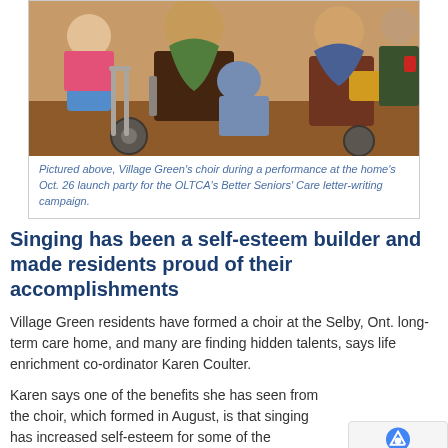[Figure (photo): Elderly residents in wheelchairs gathered together, appearing to be singing or participating in a choir performance at a long-term care home. Warm indoor lighting, people wearing scarves and colorful clothing.]
Pictured above, Village Green's choir during a performance at the home's Oct. 26 launch party for the OLTCA's Better Seniors' Care letter-writing campaign.
Singing has been a self-esteem builder and made residents proud of their accomplishments
Village Green residents have formed a choir at the Selby, Ont. long-term care home, and many are finding hidden talents, says life enrichment co-ordinator Karen Coulter.
Karen says one of the benefits she has seen from the choir, which formed in August, is that singing has increased self-esteem for some of the residents.